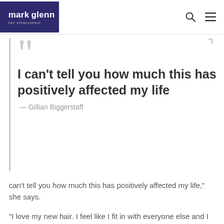mark glenn hair enhancement
I can't tell you how much this has positively affected my life
— Gillian Biggerstaff
can't tell you how much this has positively affected my life," she says.
"I love my new hair. I feel like I fit in with everyone else and I no longer look longingly at pictures of celebrities with great hair - I've got my own now!"